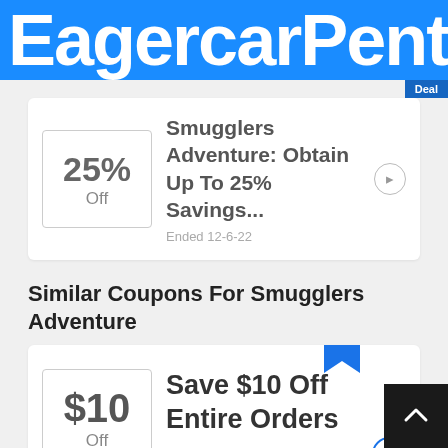EagercarPent
Deal
25% Off — Smugglers Adventure: Obtain Up To 25% Savings... — Ended 12-6-22
Similar Coupons For Smugglers Adventure
$10 Off — Save $10 Off Entire Orders